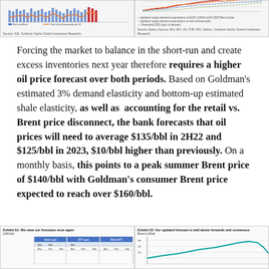[Figure (other): Top-left chart showing bar and line data, source: ICE, Goldman Sachs Global Investment Research]
[Figure (other): Top-right chart showing supply-demand expectations lines, source: Epios, Kayrros, IEA, EIA, IAJ, P.IR. RIA, Gitkem, Goldman Sachs Global Investment Research]
Forcing the market to balance in the short-run and create excess inventories next year therefore requires a higher oil price forecast over both periods. Based on Goldman’s estimated 3% demand elasticity and bottom-up estimated shale elasticity, as well as accounting for the retail vs. Brent price disconnect, the bank forecasts that oil prices will need to average $135/bbl in 2H22 and $125/bbl in 2023, $10/bbl higher than previously. On a monthly basis, this points to a peak summer Brent price of $140/bbl with Goldman’s consumer Brent price expected to reach over $160/bbl.
[Figure (table-as-image): Exhibit 51: We raise our forecasts once again - USD/bbl table showing Brent spot, WTI spot, Brent-WTI with New, Prior, Fwd columns]
[Figure (line-chart): Exhibit 52: Our updated forecast is well above forwards and consensus - Brent in $/bbl line chart]